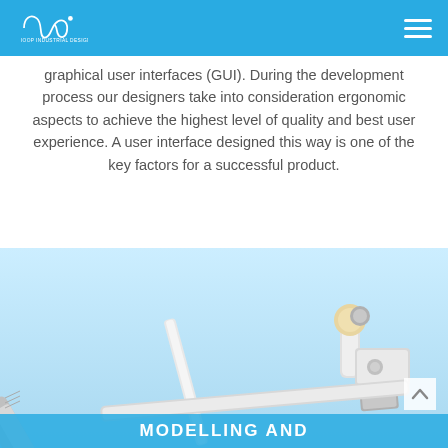IOOP INDUSTRIAL DESIGN
graphical user interfaces (GUI). During the development process our designers take into consideration ergonomic aspects to achieve the highest level of quality and best user experience. A user interface designed this way is one of the key factors for a successful product.
[Figure (photo): Medical/industrial device components and tools photographed on a light blue background, including what appears to be a pipette or medical instrument and small white plastic components.]
MODELLING AND